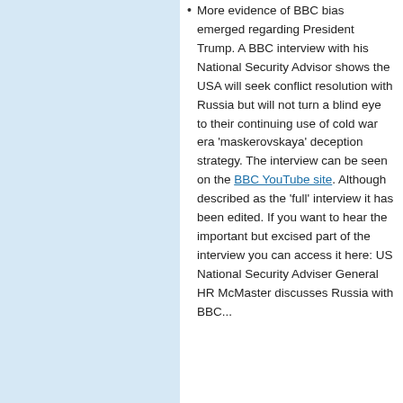More evidence of BBC bias emerged regarding President Trump. A BBC interview with his National Security Advisor shows the USA will seek conflict resolution with Russia but will not turn a blind eye to their continuing use of cold war era 'maskerovskaya' deception strategy. The interview can be seen on the BBC YouTube site. Although described as the 'full' interview it has been edited. If you want to hear the important but excised part of the interview you can access it here: US National Security Adviser General HR McMaster discusses Russia with BBC...